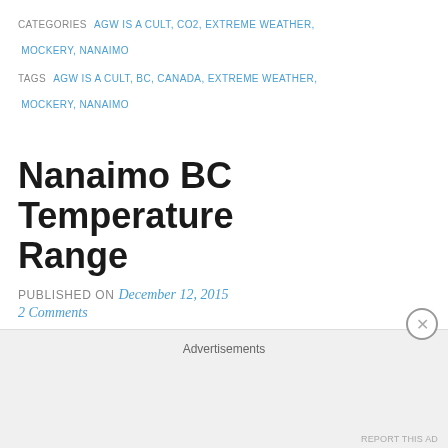CATEGORIES  AGW IS A CULT, CO2, EXTREME WEATHER, MOCKERY, NANAIMO
TAGS  AGW IS A CULT, BC, CANADA, EXTREME WEATHER, MOCKERY, NANAIMO
Nanaimo BC Temperature Range
PUBLISHED ON December 12, 2015
2 Comments
I live near Nanaimo BC (data from 1947 at “NANAIMO
Advertisements